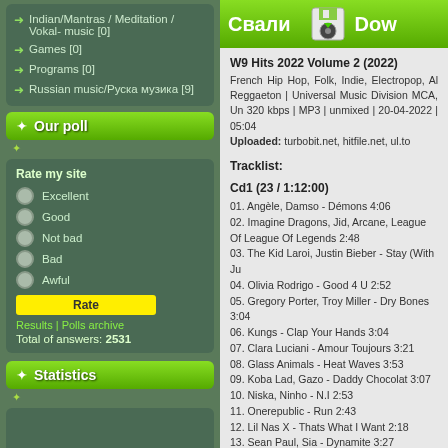Indian/Mantras / Meditation / Vokal- music [0]
Games [0]
Programs [0]
Russian music/Руска музика [9]
Our poll
Rate my site
Excellent
Good
Not bad
Bad
Awful
Rate
Results | Polls archive
Total of answers: 2531
Statistics
Total online: 2
Guests: 2
Users: 0
[Figure (other): Download banner with Cyrillic text Свали and English Dow]
W9 Hits 2022 Volume 2 (2022)
French Hip Hop, Folk, Indie, Electropop, Al Reggaeton | Universal Music Division MCA, Un 320 kbps | MP3 | unmixed | 20-04-2022 | 05:04
Uploaded: turbobit.net, hitfile.net, ul.to
Tracklist:
Cd1 (23 / 1:12:00)
01. Angèle, Damso - Démons 4:06
02. Imagine Dragons, Jid, Arcane, League Of League Of Legends 2:48
03. The Kid Laroi, Justin Bieber - Stay (With Ju
04. Olivia Rodrigo - Good 4 U 2:52
05. Gregory Porter, Troy Miller - Dry Bones 3:04
06. Kungs - Clap Your Hands 3:04
07. Clara Luciani - Amour Toujours 3:21
08. Glass Animals - Heat Waves 3:53
09. Koba Lad, Gazo - Daddy Chocolat 3:07
10. Niska, Ninho - N.I 2:53
11. Onerepublic - Run 2:43
12. Lil Nas X - Thats What I Want 2:18
13. Sean Paul, Sia - Dynamite 3:27
14. Alesso, Katy Perry - When I'm Gone (With K
15. Jul - La Miss 3:56
16. Tom Gregory - Footprints 3:15
17. Tibz, Jérémy Frerot - On Partira (Tout Ce Q
18. Duncan Laurence - Arcade 2:57